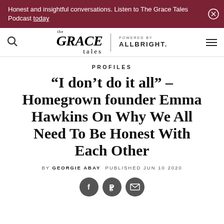Honest and insightful conversations. Listen to The Grace Tales Podcast today
[Figure (logo): The Grace Tales logo with 'Powered by Allbright.']
PROFILES
“I don’t do it all” – Homegrown founder Emma Hawkins On Why We All Need To Be Honest With Each Other
BY GEORGIE ABAY PUBLISHED JUN 10 2020
[Figure (infographic): Social sharing icons: Facebook, Pinterest, Email]